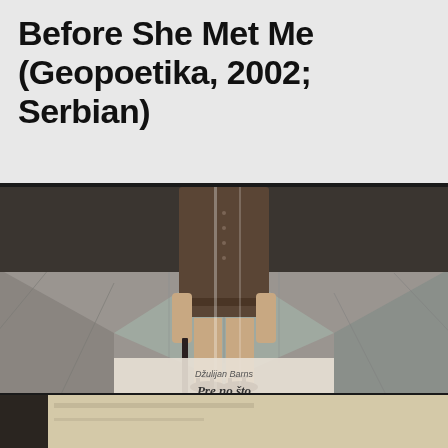Before She Met Me (Geopoetika, 2002; Serbian)
[Figure (photo): Book cover of 'Pre no što me je srela' (Before She Met Me) published by Geopoetika. The cover shows a woman from the waist down wearing a brown dress and black sandals, standing near a grey sofa. She holds what appears to be a dark umbrella or knife. The book title 'Pre no što me je srela' and author name 'Džulijan Barns' (Julian Barnes) are displayed on the lower portion of the cover with a publisher logo.]
[Figure (photo): Partial view of another book at the bottom of the page, showing only a sliver of the cover.]